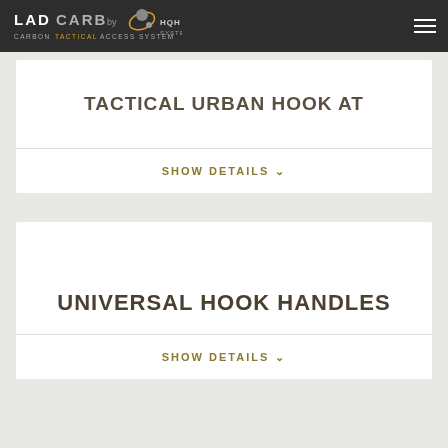LAD CARB by HQH SYSTEM - CARBON TACTICAL ACCESS SYSTEM
TACTICAL URBAN HOOK AT
SHOW DETAILS
UNIVERSAL HOOK HANDLES
SHOW DETAILS